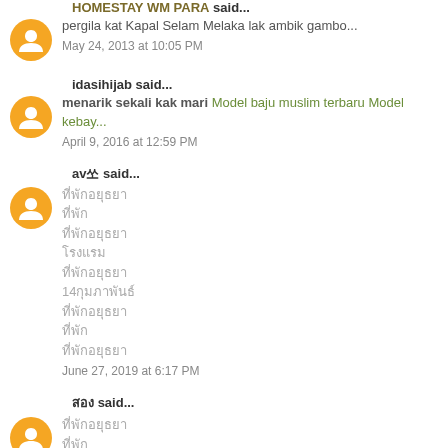HOMESTAY WM PARA said...
pergila kat Kapal Selam Melaka lak ambik gambo...
May 24, 2013 at 10:05 PM
idasihijab said...
menarik sekali kak mari Model baju muslim terbaru Model kebay...
April 9, 2016 at 12:59 PM
av쏘 said...
ที่พักอยุธยา
ที่พัก
ที่พักอยุธยา2
โรงแรม
ที่พักอยุธยา
14กุมภาพันธ์
ที่พักอยุธยา
ที่พัก
ที่พักอยุธยา
June 27, 2019 at 6:17 PM
สอง said...
ที่พักอยุธยา
ที่พัก